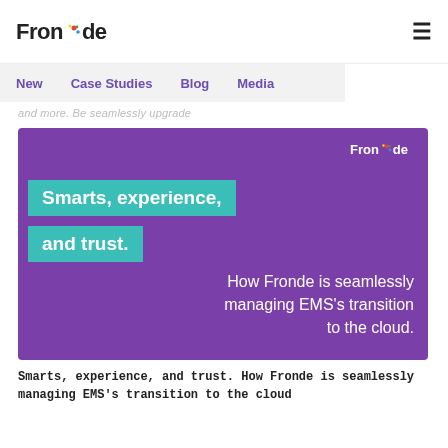Fronde
New  Case Studies  Blog  Media
and more. Be seamlessly upgrade
[Figure (illustration): Purple card with teal highlighted text 'Smarts, experience, and trust.' and white subtitle 'How Fronde is seamlessly managing EMS's transition to the cloud.' with Fronde logo in top right corner.]
Smarts, experience, and trust. How Fronde is seamlessly managing EMS's transition to the cloud